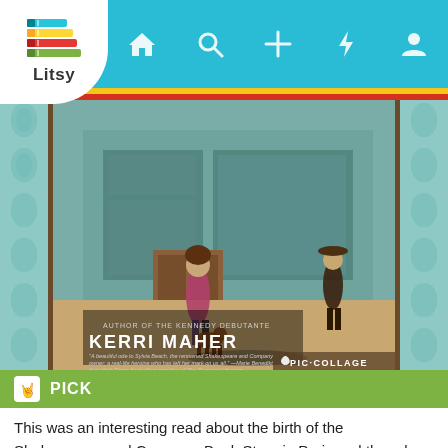[Figure (screenshot): Litsy app screenshot showing navigation bar with Litsy logo (stacked colorful books icon with 'Litsy' text), teal background nav bar with home, search, plus, lightning bolt, and profile icons, yellow and red color stripes below nav bar, a book cover image for a novel by Kerri Maher (Author of The Kennedy Debutante), decorative teal wallpaper pattern on left and right sides, a green PICK bar with a hand/rock emoji icon, and text reading 'This was an interesting read about the birth of the Shakespeare and Company Book Store in Paris and the role that its owner']
PICK
This was an interesting read about the birth of the Shakespeare and Company Book Store in Paris and the role that its owner